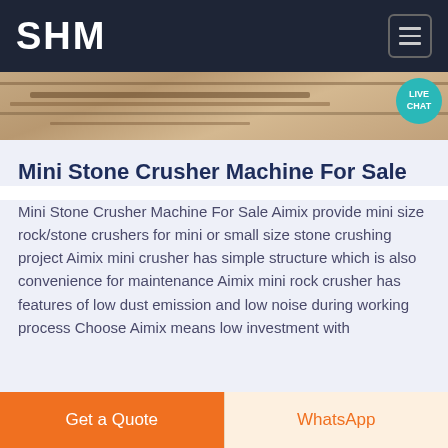SHM
[Figure (photo): Hero image strip showing boats/machinery with a teal Live Chat bubble in the top-right corner]
Mini Stone Crusher Machine For Sale
Mini Stone Crusher Machine For Sale Aimix provide mini size rock/stone crushers for mini or small size stone crushing project Aimix mini crusher has simple structure which is also convenience for maintenance Aimix mini rock crusher has features of low dust emission and low noise during working process Choose Aimix means low investment with
Get a Quote   WhatsApp